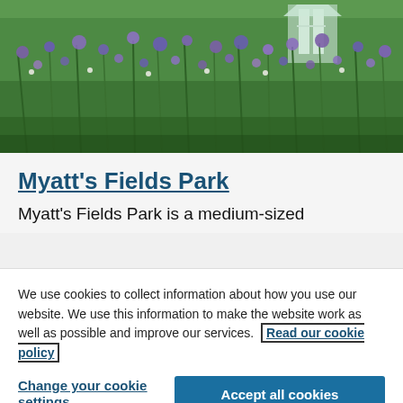[Figure (photo): Photograph of Myatt's Fields Park showing a lush garden with purple and blue wildflowers, green grass and tall plants, with a small white structure visible in the background.]
Myatt's Fields Park
Myatt's Fields Park is a medium-sized
We use cookies to collect information about how you use our website. We use this information to make the website work as well as possible and improve our services. Read our cookie policy
Change your cookie settings
Accept all cookies